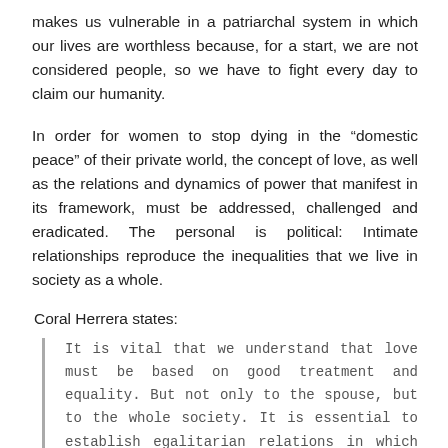makes us vulnerable in a patriarchal system in which our lives are worthless because, for a start, we are not considered people, so we have to fight every day to claim our humanity.
In order for women to stop dying in the “domestic peace” of their private world, the concept of love, as well as the relations and dynamics of power that manifest in its framework, must be addressed, challenged and eradicated. The personal is political: Intimate relationships reproduce the inequalities that we live in society as a whole.
Coral Herrera states:
It is vital that we understand that love must be based on good treatment and equality. But not only to the spouse, but to the whole society. It is essential to establish egalitarian relations in which differences serve to enrich each other, not to submit to each other. It is also essential to empower women so that we do not live “in love,” and also to teach